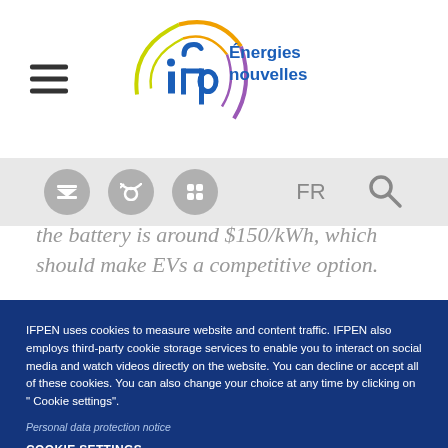[Figure (logo): IFP Energies nouvelles logo with circular arc graphic and blue text]
the battery is around $150/kWh, which should make EVs a competitive option.
IFPEN uses cookies to measure website and content traffic. IFPEN also employs third-party cookie storage services to enable you to interact on social media and watch videos directly on the website. You can decline or accept all of these cookies. You can also change your choice at any time by clicking on " Cookie settings".
Personal data protection notice
COOKIE SETTINGS
ACCEPT COOKIES
DECLINE COOKIES